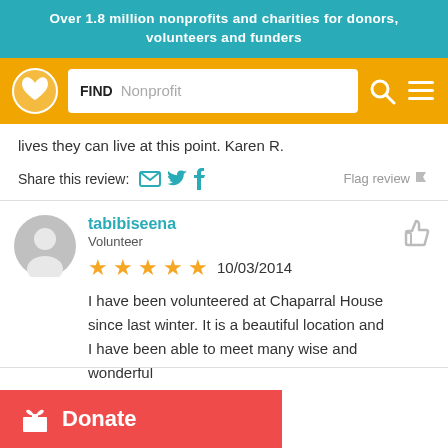Over 1.8 million nonprofits and charities for donors, volunteers and funders
[Figure (screenshot): Navigation bar with orange background, heart logo on left, search box with FIND and Nonprofit placeholder, search icon and hamburger menu icon on right]
lives they can live at this point. Karen R.
Share this review: [email icon] [twitter icon] [facebook icon]   Flag review [flag icon]
tabibiseena
Volunteer
★★★★★ 10/03/2014
I have been volunteered at Chaparral House since last winter. It is a beautiful location and I have been able to meet many wise and wonderful
Donate